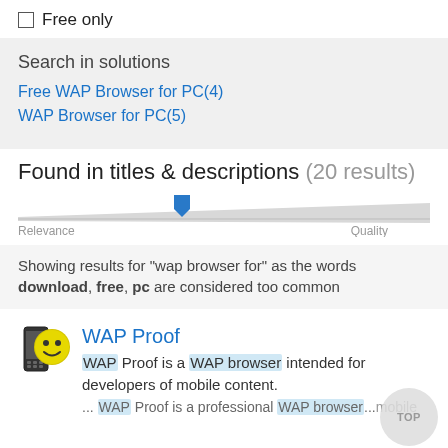Free only
Search in solutions
Free WAP Browser for PC(4)
WAP Browser for PC(5)
Found in titles & descriptions (20 results)
[Figure (other): Relevance-to-Quality slider with blue shield marker positioned left-of-center]
Showing results for "wap browser for" as the words download, free, pc are considered too common
[Figure (photo): WAP Proof app icon — yellow cartoon face on a mobile phone]
WAP Proof
WAP Proof is a WAP browser intended for developers of mobile content.
... WAP Proof is a professional WAP browser...mobile